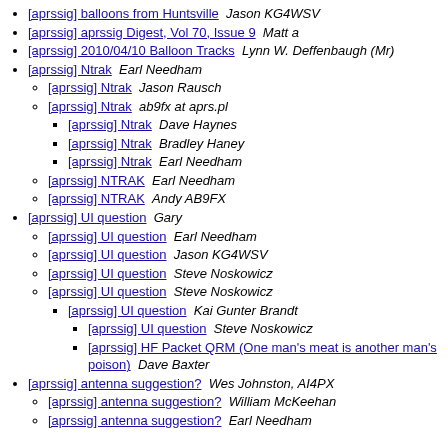[aprssig] balloons from Huntsville  Jason KG4WSV
[aprssig] aprssig Digest, Vol 70, Issue 9  Matt a
[aprssig] 2010/04/10 Balloon Tracks  Lynn W. Deffenbaugh (Mr)
[aprssig] Ntrak  Earl Needham
[aprssig] Ntrak  Jason Rausch
[aprssig] Ntrak  ab9fx at aprs.pl
[aprssig] Ntrak  Dave Haynes
[aprssig] Ntrak  Bradley Haney
[aprssig] Ntrak  Earl Needham
[aprssig] NTRAK  Earl Needham
[aprssig] NTRAK  Andy AB9FX
[aprssig] UI question  Gary
[aprssig] UI question  Earl Needham
[aprssig] UI question  Jason KG4WSV
[aprssig] UI question  Steve Noskowicz
[aprssig] UI question  Steve Noskowicz
[aprssig] UI question  Kai Gunter Brandt
[aprssig] UI question  Steve Noskowicz
[aprssig] HF Packet QRM (One man's meat is another man's poison)  Dave Baxter
[aprssig] antenna suggestion?  Wes Johnston, AI4PX
[aprssig] antenna suggestion?  William McKeehan
[aprssig] antenna suggestion?  Earl Needham